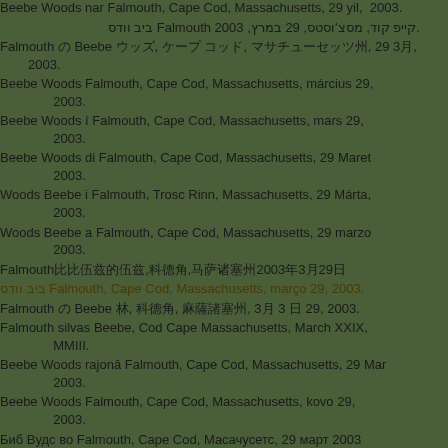Beebe Woods nar Falmouth, Cape Cod, Massachusetts, 29 yil, 2003.
.קייפ קוד, מסצ'וסטס, 29 במרץ, 2003 Falmouth ביב וודס
Falmouth の Beebe ウッズ, ケープ コッド, マサチューセッツ州, 29 3月, 2003.
Beebe Woods Falmouth, Cape Cod, Massachusetts, március 29, 2003.
Beebe Woods í Falmouth, Cape Cod, Massachusetts, mars 29, 2003.
Beebe Woods di Falmouth, Cape Cod, Massachusetts, 29 Maret 2003.
Woods Beebe i Falmouth, Trosc Rinn, Massachusetts, 29 Márta, 2003.
Woods Beebe a Falmouth, Cape Cod, Massachusetts, 29 marzo 2003.
Falmouth比比伍兹的伍兹,科德角,马萨诸塞州2003年3月29日
ביב וודס Falmouth, Cape Cod, Massachusetts, março 29, 2003.
Falmouth の Beebe 林, 科德角, 麻薩諸塞州, 3月 3 日 29, 2003.
Falmouth silvas Beebe, Cod Cape Massachusetts, March XXIX, MMIII.
Beebe Woods rajonā Falmouth, Cape Cod, Massachusetts, 29 Mar 2003.
Beebe Woods Falmouth, Cape Cod, Massachusetts, kovo 29, 2003.
Биб Вудс во Falmouth, Cape Cod, Масачусетс, 29 март 2003 година.